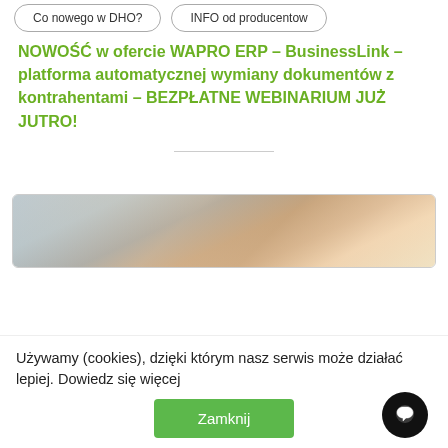Co nowego w DHO? | INFO od producentow
NOWOŚĆ w ofercie WAPRO ERP – BusinessLink – platforma automatycznej wymiany dokumentów z kontrahentami – BEZPŁATNE WEBINARIUM JUŻ JUTRO!
[Figure (photo): Photo of a person holding a tablet device, shown in a card with rounded corners and border]
Używamy (cookies), dzięki którym nasz serwis może działać lepiej. Dowiedz się więcej
Zamknij